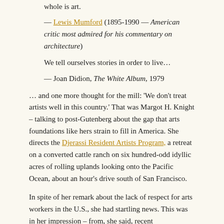whole is art.
— Lewis Mumford (1895-1990 — American critic most admired for his commentary on architecture)
We tell ourselves stories in order to live…
— Joan Didion, The White Album, 1979
… and one more thought for the mill: 'We don't treat artists well in this country.' That was Margot H. Knight – talking to post-Gutenberg about the gap that arts foundations like hers strain to fill in America. She directs the Djerassi Resident Artists Program, a retreat on a converted cattle ranch on six hundred-odd idyllic acres of rolling uplands looking onto the Pacific Ocean, about an hour's drive south of San Francisco.
In spite of her remark about the lack of respect for arts workers in the U.S., she had startling news. This was in her impression – from, she said, recent conversations — of an explosion in approaches to organisations like Djerassi for advice on turning farms, ranches, and other property in inspiring settings — some of them urban — into places for artists to make temporary or permanent homes. She considers the trend she perceives as a sign